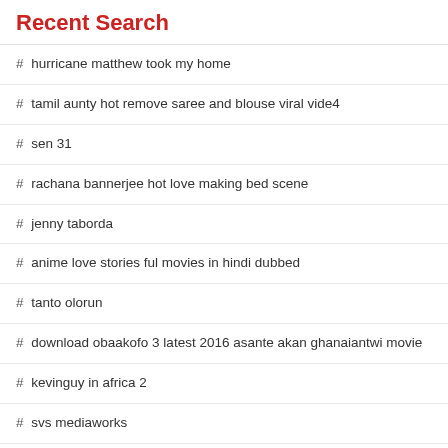Recent Search
# hurricane matthew took my home
# tamil aunty hot remove saree and blouse viral vide4
# sen 31
# rachana bannerjee hot love making bed scene
# jenny taborda
# anime love stories ful movies in hindi dubbed
# tanto olorun
# download obaakofo 3 latest 2016 asante akan ghanaiantwi movie
# kevinguy in africa 2
# svs mediaworks
# الصور vlip lv تونس keek رقص خليجية سعودية اكبر مكوة في الشرق الاوسط ... #
# full movie o3d